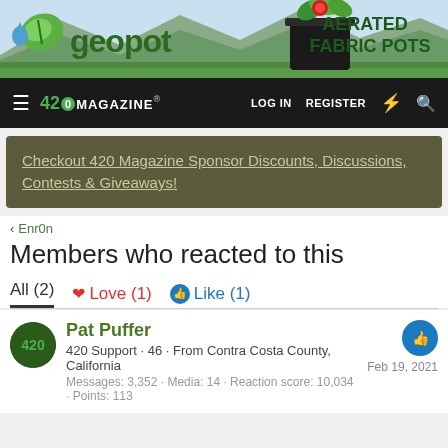[Figure (photo): GeoPot Aerated Fabric Pots banner advertisement with logo, plant imagery, and text 'AERATED FABRIC POTS']
420 MAGAZINE | LOG IN | REGISTER
Checkout 420 Magazine Sponsor Discounts, Discussions, Contests & Giveaways!
< Enr0n
Members who reacted to this
All (2)  Love (1)  Like (1)
Pat Puffer
420 Support · 46 · From Contra Costa County, California
Messages: 3,352 · Media: 14 · Reaction score: 10,034 · Points: 113
Feb 19, 2021